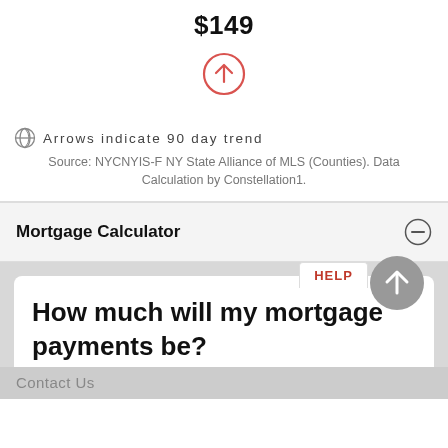$149
[Figure (illustration): Red circle with upward arrow icon indicating price trend direction]
Arrows indicate 90 day trend
Source: NYCNYIS-F NY State Alliance of MLS (Counties). Data Calculation by Constellation1.
Mortgage Calculator
HELP
How much will my mortgage payments be?
Contact Us